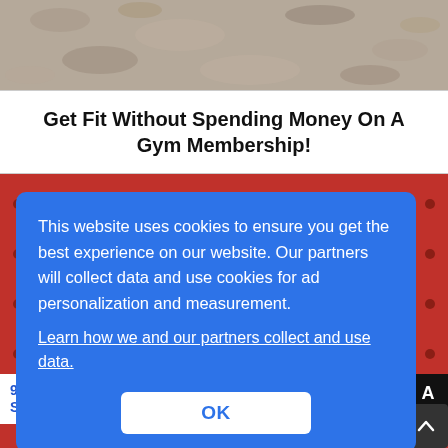[Figure (photo): Top strip showing a gravel/pavement surface texture, grayish-brown]
Get Fit Without Spending Money On A Gym Membership!
[Figure (photo): Photo of a young woman with red/orange hair squinting, set against a red background/wall with metal rivets]
This website uses cookies to ensure you get the best experience on our website. Our partners will collect data and use cookies for ad personalization and measurement.
Learn how we and our partners collect and use data.
OK
9 Things Everyone Should Know If They Have A Crush On Someone
A
[Figure (other): Scroll-to-top arrow button (dark background with upward chevron)]